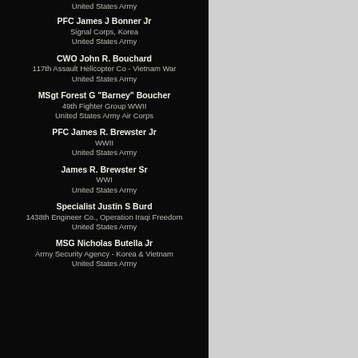United States Army
PFC James J Bonner Jr
Signal Corps, Korea
United States Army
CWO John R. Bouchard
117th Assault Helicopter Co - Vietnam War
United States Army
MSgt Forest G "Barney" Boucher
49th Fighter Group WWII
United States Army Air Corps
PFC James R. Brewster Jr
WWII
United States Army
James R. Brewster Sr
WWI
United States Army
Specialist Justin S Burd
1438th Engineer Co., Operation Iraqi Freedom
United States Army
MSG Nicholas Butella Jr
Army Security Agency - Korea & Vietnam
United States Army